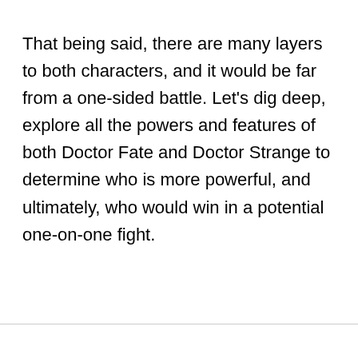That being said, there are many layers to both characters, and it would be far from a one-sided battle. Let's dig deep, explore all the powers and features of both Doctor Fate and Doctor Strange to determine who is more powerful, and ultimately, who would win in a potential one-on-one fight.